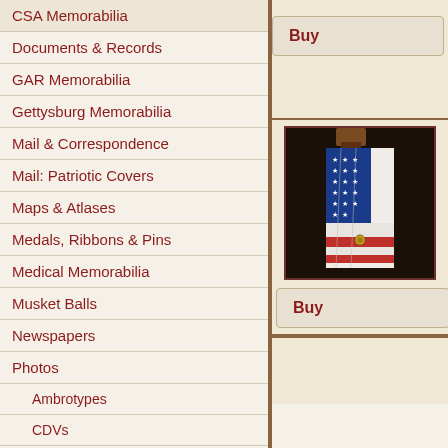CSA Memorabilia
Documents & Records
GAR Memorabilia
Gettysburg Memorabilia
Mail & Correspondence
Mail: Patriotic Covers
Maps & Atlases
Medals, Ribbons & Pins
Medical Memorabilia
Musket Balls
Newspapers
Photos
Ambrotypes
CDVs
Daguerreotypes
Tintypes
Pocketwatches
Reenactment Flags
Robert E. Lee Memorabilia
Rosettes
[Figure (photo): Folded American flag with stars visible, displayed against dark background]
Buy
Buy